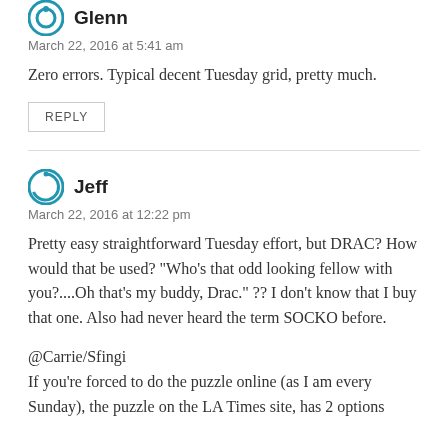Glenn
March 22, 2016 at 5:41 am
Zero errors. Typical decent Tuesday grid, pretty much.
REPLY
Jeff
March 22, 2016 at 12:22 pm
Pretty easy straightforward Tuesday effort, but DRAC? How would that be used? "Who's that odd looking fellow with you?....Oh that's my buddy, Drac." ?? I don't know that I buy that one. Also had never heard the term SOCKO before.
@Carrie/Sfingi
If you're forced to do the puzzle online (as I am every Sunday), the puzzle on the LA Times site, has 2 options